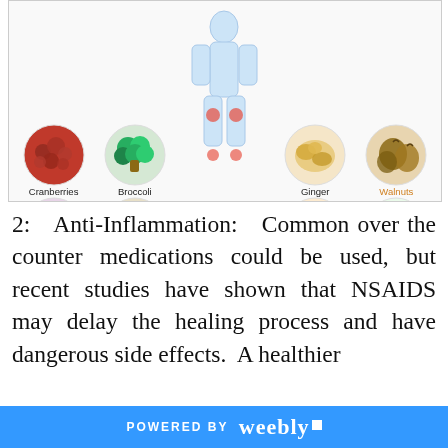[Figure (infographic): Anti-inflammatory foods infographic showing circular images of Cranberries, Broccoli, Ginger, Walnuts (top row) and Red Cabbage, Hemp seeds, Turmeric, Celery (bottom row) arranged around a central human figure with highlighted knee and ankle joints indicating inflammation.]
2: Anti-Inflammation: Common over the counter medications could be used, but recent studies have shown that NSAIDS may delay the healing process and have dangerous side effects. A healthier choice to consider is a blend of
POWERED BY weebly